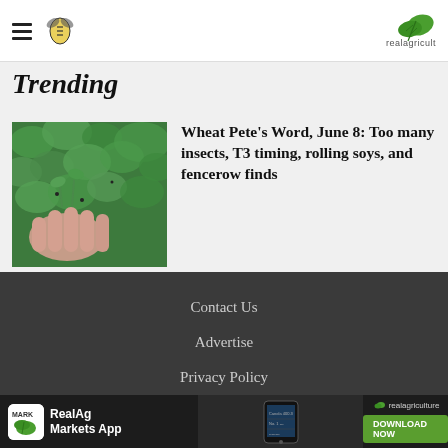realagriculture
Trending
[Figure (photo): Close-up photo of a hand holding a plant with insects, green foliage background]
Wheat Pete’s Word, June 8: Too many insects, T3 timing, rolling soys, and fencerow finds
Contact Us | Advertise | Privacy Policy | © 2022 Real Agriculture
[Figure (infographic): RealAg Markets App advertisement banner with app icon, phone screenshot, and Download Now button]